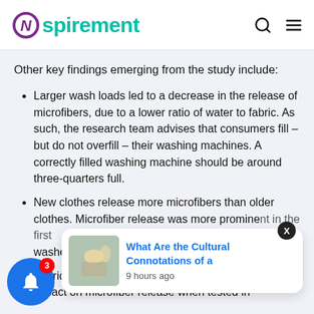Nspirement
Other key findings emerging from the study include:
Larger wash loads led to a decrease in the release of microfibers, due to a lower ratio of water to fabric. As such, the research team advises that consumers fill – but do not overfill – their washing machines. A correctly filled washing machine should be around three-quarters full.
New clothes release more microfibers than older clothes. Microfiber release was more prominent in the first washes.
Fabric softeners were found to have no direct impact on microfiber release when tested in
[Figure (screenshot): Toast notification popup showing a thumbnail image and text 'What Are the Cultural Connotations of a' with '9 hours ago' timestamp, and a notification bell icon with badge showing 3]